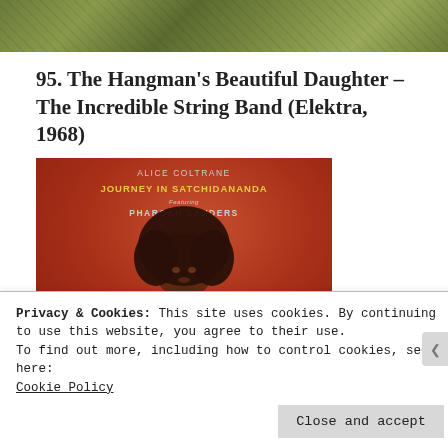[Figure (photo): Top portion of a decorative or artistic image with green/nature tones, partially cropped]
95. The Hangman’s Beautiful Daughter – The Incredible String Band (Elektra, 1968)
[Figure (photo): Album cover for Alice Coltrane - Journey in Satchidananda featuring Pharoah Sanders. Red/terracotta background with Alice Coltrane in the foreground with an afro hairstyle.]
Privacy & Cookies: This site uses cookies. By continuing to use this website, you agree to their use.
To find out more, including how to control cookies, see here: Cookie Policy
Close and accept